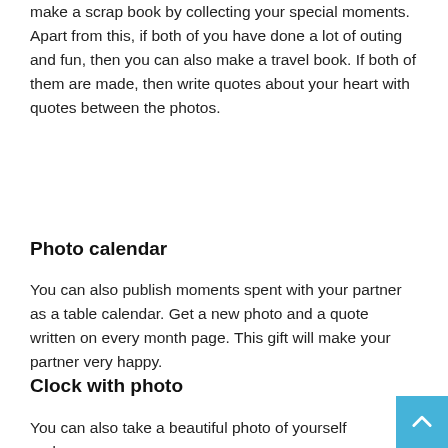make a scrap book by collecting your special moments. Apart from this, if both of you have done a lot of outing and fun, then you can also make a travel book. If both of them are made, then write quotes about your heart with quotes between the photos.
Photo calendar
You can also publish moments spent with your partner as a table calendar. Get a new photo and a quote written on every month page. This gift will make your partner very happy.
Clock with photo
You can also take a beautiful photo of yourself and your